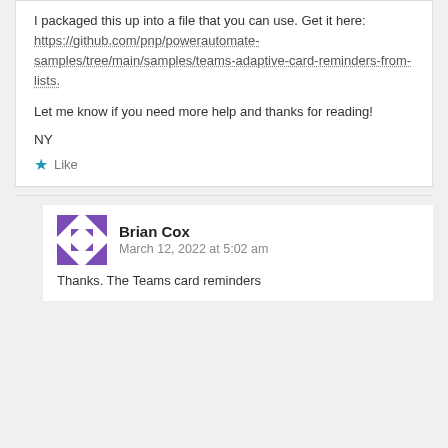I packaged this up into a file that you can use. Get it here: https://github.com/pnp/powerautomate-samples/tree/main/samples/teams-adaptive-card-reminders-from-lists.
Let me know if you need more help and thanks for reading!
NY
★ Like
Brian Cox
March 12, 2022 at 5:02 am
Thanks. The Teams card reminders